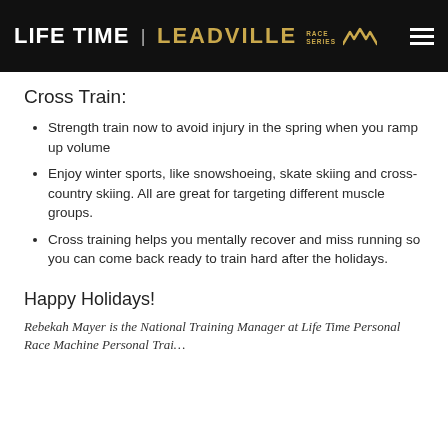LIFE TIME | LEADVILLE RACE SERIES
Cross Train:
Strength train now to avoid injury in the spring when you ramp up volume
Enjoy winter sports, like snowshoeing, skate skiing and cross-country skiing. All are great for targeting different muscle groups.
Cross training helps you mentally recover and miss running so you can come back ready to train hard after the holidays.
Happy Holidays!
Rebekah Mayer is the National Training Manager at Life Time Personal Race Machine Personal Trai...